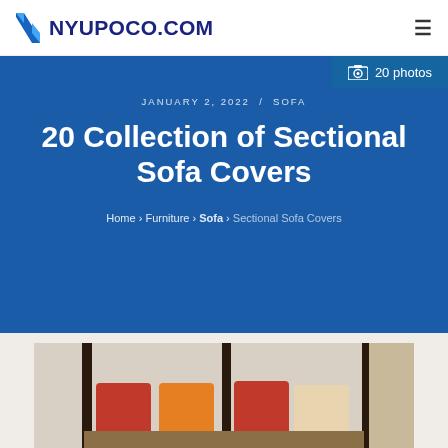NYUPOCO.COM
20 photos
JANUARY 2, 2022 / SOFA
20 Collection of Sectional Sofa Covers
Home › Furniture › Sofa › Sectional Sofa Covers
[Figure (photo): Partial view of a sofa with red/orange cushions and dark wooden frame elements visible at the bottom of the page]